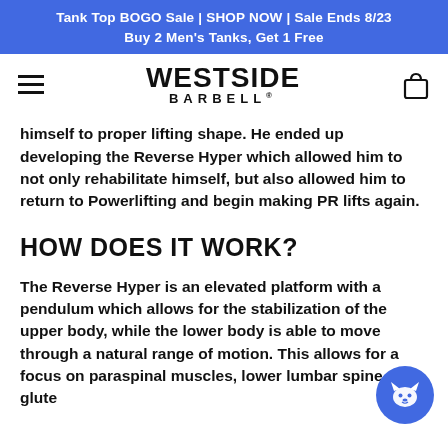Tank Top BOGO Sale | SHOP NOW | Sale Ends 8/23
Buy 2 Men's Tanks, Get 1 Free
[Figure (logo): Westside Barbell logo with hamburger menu and shopping bag icon]
himself to proper lifting shape. He ended up developing the Reverse Hyper which allowed him to not only rehabilitate himself, but also allowed him to return to Powerlifting and begin making PR lifts again.
HOW DOES IT WORK?
The Reverse Hyper is an elevated platform with a pendulum which allows for the stabilization of the upper body, while the lower body is able to move through a natural range of motion. This allows for a focus on paraspinal muscles, lower lumbar spine and glute